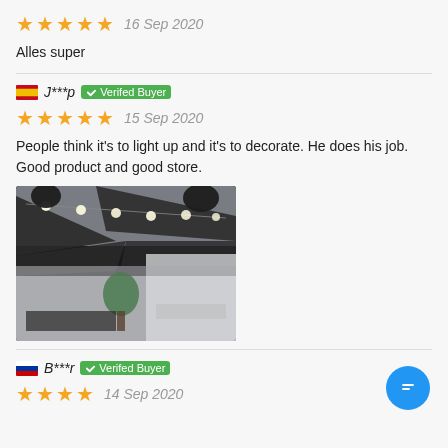[Figure (other): Five gold stars rating with date 16 Sep 2020]
Alles super
[Figure (other): Spanish flag, reviewer name J***p, Verified Buyer badge]
[Figure (other): Five gold stars rating with date 15 Sep 2020]
People think it's to light up and it's to decorate. He does his job. Good product and good store.
[Figure (photo): Indoor photo showing decorative string lights and dark fabric canopy over a room with plants]
[Figure (other): Russian flag, reviewer name B***r, Verified Buyer badge]
[Figure (other): Five gold stars rating with date 14 Sep 2020 (partially visible)]